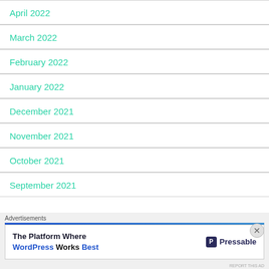April 2022
March 2022
February 2022
January 2022
December 2021
November 2021
October 2021
September 2021
Advertisements
[Figure (other): Pressable advertisement: The Platform Where WordPress Works Best]